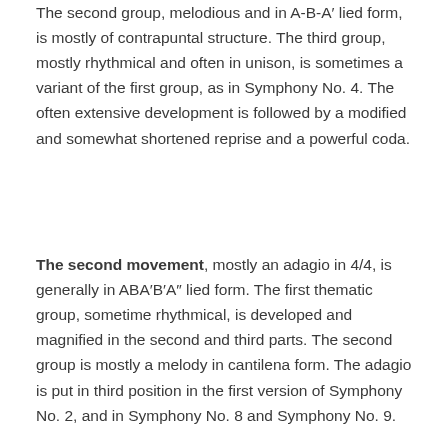The second group, melodious and in A-B-A' lied form, is mostly of contrapuntal structure. The third group, mostly rhythmical and often in unison, is sometimes a variant of the first group, as in Symphony No. 4. The often extensive development is followed by a modified and somewhat shortened reprise and a powerful coda.
The second movement, mostly an adagio in 4/4, is generally in ABA'B'A" lied form. The first thematic group, sometime rhythmical, is developed and magnified in the second and third parts. The second group is mostly a melody in cantilena form. The adagio is put in third position in the first version of Symphony No. 2, and in Symphony No. 8 and Symphony No. 9.